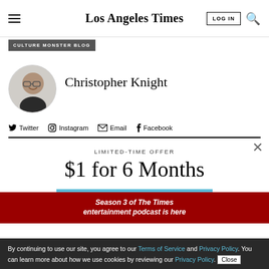Los Angeles Times — LOG IN [search]
CULTURE MONSTER BLOG
[Figure (photo): Circular headshot portrait of Christopher Knight]
Christopher Knight
Twitter   Instagram   Email   Facebook
LIMITED-TIME OFFER
$1 for 6 Months
SUBSCRIBE NOW
Season 3 of The Times entertainment podcast is here
By continuing to use our site, you agree to our Terms of Service and Privacy Policy. You can learn more about how we use cookies by reviewing our Privacy Policy. Close